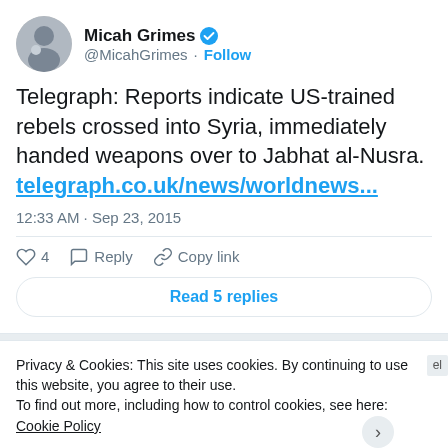[Figure (screenshot): Twitter/X profile photo of Micah Grimes — circular avatar showing a bearded man with a child]
Micah Grimes @MicahGrimes · Follow
Telegraph: Reports indicate US-trained rebels crossed into Syria, immediately handed weapons over to Jabhat al-Nusra. telegraph.co.uk/news/worldnews...
12:33 AM · Sep 23, 2015
♡ 4   Reply   Copy link
Read 5 replies
Privacy & Cookies: This site uses cookies. By continuing to use this website, you agree to their use.
To find out more, including how to control cookies, see here: Cookie Policy
Close and accept